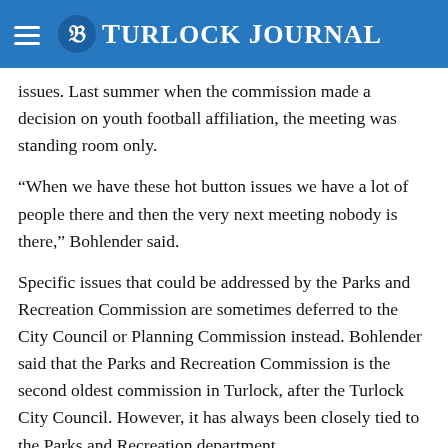Turlock Journal
issues. Last summer when the commission made a decision on youth football affiliation, the meeting was standing room only.
“When we have these hot button issues we have a lot of people there and then the very next meeting nobody is there,” Bohlender said.
Specific issues that could be addressed by the Parks and Recreation Commission are sometimes deferred to the City Council or Planning Commission instead. Bohlender said that the Parks and Recreation Commission is the second oldest commission in Turlock, after the Turlock City Council. However, it has always been closely tied to the Parks and Recreation department.
The Turlock Parks and Recreation department has been shuffled around in recent years, taking the commission right along with it. The department was independent first, then incorporated into